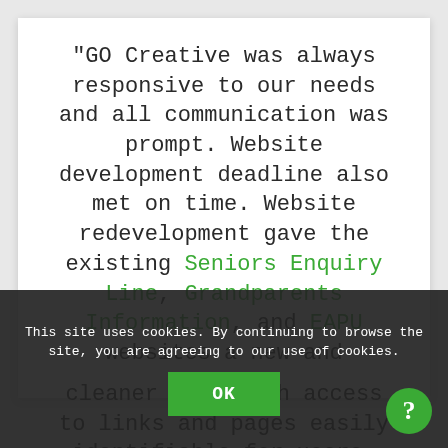“GO Creative was always responsive to our needs and all communication was prompt. Website development deadline also met on time. Website redevelopment gave the existing Seniors Enquiry Line, Grandparents Information, and EAPU websites a new and cleaner look with access to links and pages easily identifiable for users. User friendly websites.”
This site uses cookies. By continuing to browse the site, you are agreeing to our use of cookies.